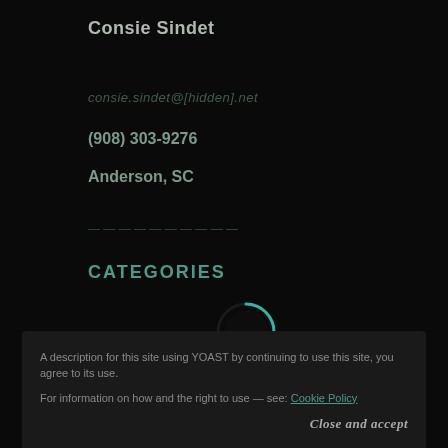Consie Sindet
consie.sindet@[hidden].net
(908) 303-9276
Anderson, SC
CATEGORIES
[Figure (other): Loading spinner circle, partially teal arc on dark background]
Select Category
A description for this site using YOAST by continuing to use this site, you agree to its use.
For information on how and the right to use — see: Cookie Policy
Close and accept